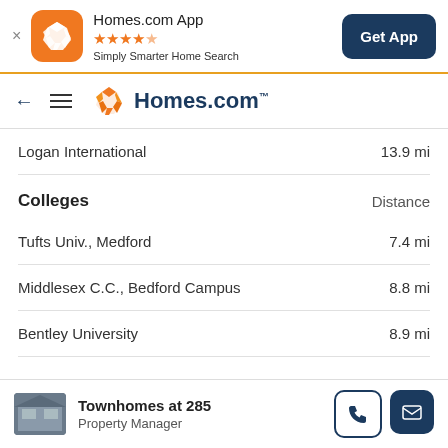[Figure (screenshot): Homes.com app banner with orange icon, star rating, tagline, and Get App button]
[Figure (logo): Homes.com navigation bar with back arrow, hamburger menu, and Homes.com logo]
Logan International    13.9 mi
Colleges
Distance
Tufts Univ., Medford    7.4 mi
Middlesex C.C., Bedford Campus    8.8 mi
Bentley University    8.9 mi
Townhomes at 285 — Property Manager